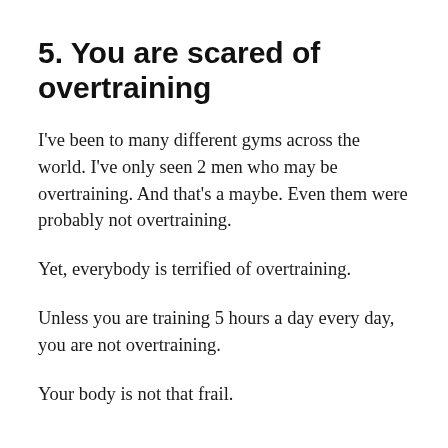5. You are scared of overtraining
I've been to many different gyms across the world. I've only seen 2 men who may be overtraining. And that's a maybe. Even them were probably not overtraining.
Yet, everybody is terrified of overtraining.
Unless you are training 5 hours a day every day, you are not overtraining.
Your body is not that frail.